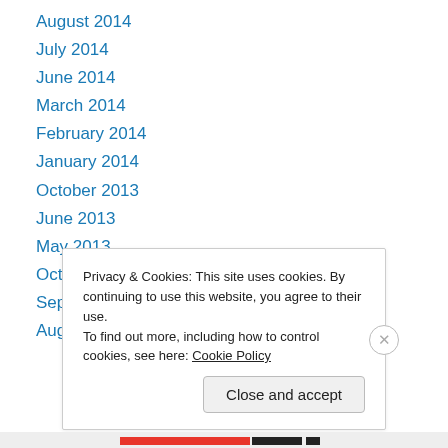August 2014
July 2014
June 2014
March 2014
February 2014
January 2014
October 2013
June 2013
May 2013
October 2012
September 2012
August 2012
Privacy & Cookies: This site uses cookies. By continuing to use this website, you agree to their use. To find out more, including how to control cookies, see here: Cookie Policy